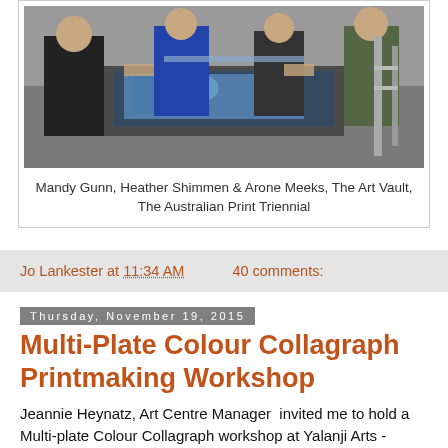[Figure (photo): People standing around a print press working on printmaking at The Art Vault, The Australian Print Triennial]
Mandy Gunn, Heather Shimmen & Arone Meeks, The Art Vault, The Australian Print Triennial
Jo Lankester at 11:34 AM    40 comments:
Thursday, November 19, 2015
Multi-Plate Colour Collagraph Printmaking Workshop
Jeannie Heynatz, Art Centre Manager  invited me to hold a Multi-plate Colour Collagraph workshop at Yalanji Arts - Mossman Gorge in November 2014.